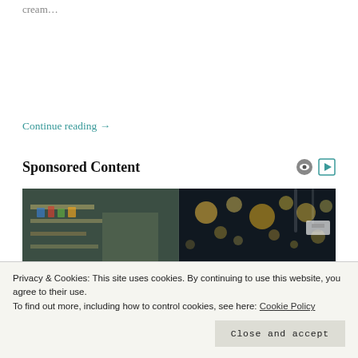cream…
Continue reading →
Sponsored Content
[Figure (photo): Blurry photo of a retail shop interior with bokeh lights]
Privacy & Cookies: This site uses cookies. By continuing to use this website, you agree to their use.
To find out more, including how to control cookies, see here: Cookie Policy
Close and accept